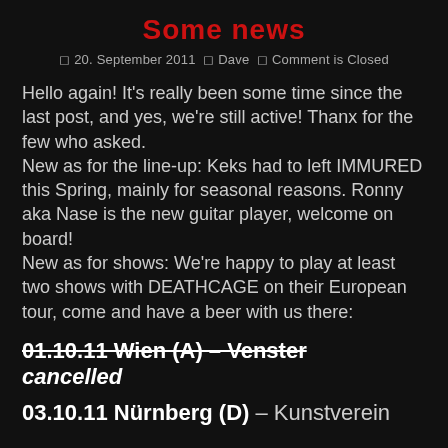Some news
◻ 20. September 2011  ◻ Dave  ◻ Comment is Closed
Hello again! It's really been some time since the last post, and yes, we're still active! Thanx for the few who asked.
New as for the line-up: Keks had to left IMMURED this Spring, mainly for seasonal reasons. Ronny aka Nase is the new guitar player, welcome on board!
New as for shows: We're happy to play at least two shows with DEATHCAGE on their European tour, come and have a beer with us there:
01.10.11 Wien (A) – Venster
cancelled
03.10.11 Nürnberg (D) – Kunstverein